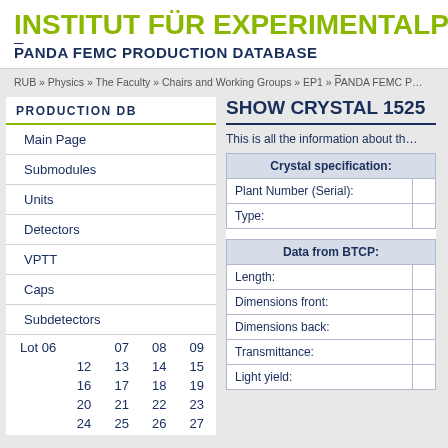INSTITUT FÜR EXPERIMENTALPHYS…
P̄ANDA FEMC PRODUCTION DATABASE
RUB » Physics » The Faculty » Chairs and Working Groups » EP1 » P̄ANDA FEMC P…
PRODUCTION DB
Main Page
Submodules
Units
Detectors
VPTT
Caps
Subdetectors
| Lot 06 | 07 | 08 | 09 |
| --- | --- | --- | --- |
| 12 | 13 | 14 | 15 |
| 16 | 17 | 18 | 19 |
| 20 | 21 | 22 | 23 |
| 24 | 25 | 26 | 27 |
SHOW CRYSTAL 1525
This is all the information about th…
| Crystal specification: |
| --- |
| Plant Number (Serial): |  |
| Type: |  |
| Data from BTCP: |  |
| Length: |  |
| Dimensions front: |  |
| Dimensions back: |  |
| Transmittance: |  |
| Light yield: |  |